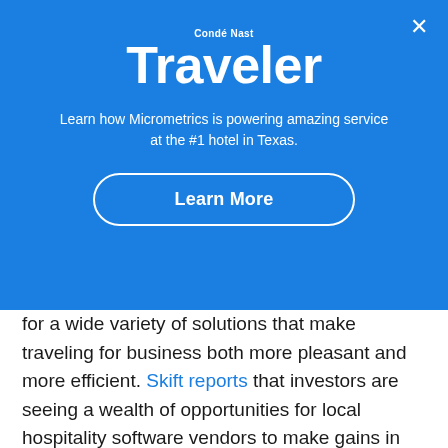[Figure (other): Condé Nast Traveler advertisement modal overlay with blue background, logo, tagline, and Learn More button]
for a wide variety of solutions that make traveling for business both more pleasant and more efficient. Skift reports that investors are seeing a wealth of opportunities for local hospitality software vendors to make gains in the industry.
Understanding Needs and